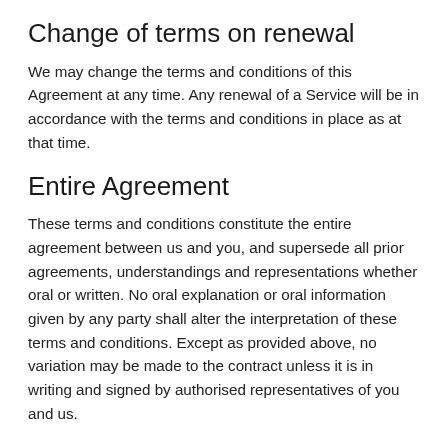Change of terms on renewal
We may change the terms and conditions of this Agreement at any time. Any renewal of a Service will be in accordance with the terms and conditions in place as at that time.
Entire Agreement
These terms and conditions constitute the entire agreement between us and you, and supersede all prior agreements, understandings and representations whether oral or written. No oral explanation or oral information given by any party shall alter the interpretation of these terms and conditions. Except as provided above, no variation may be made to the contract unless it is in writing and signed by authorised representatives of you and us.
Important Note
In the event that this agreement constitutes a supply of goods or services to a consumer as defined in the